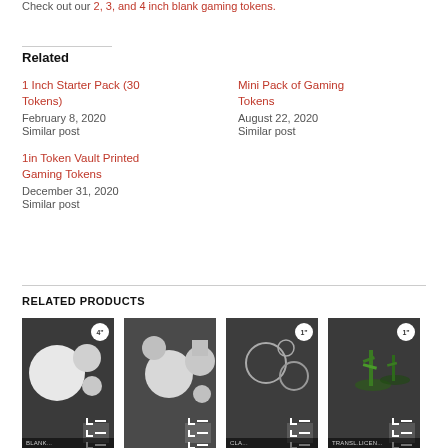Check out our 2, 3, and 4 inch blank gaming tokens.
Related
1 Inch Starter Pack (30 Tokens)
February 8, 2020
Similar post
Mini Pack of Gaming Tokens
August 22, 2020
Similar post
1in Token Vault Printed Gaming Tokens
December 31, 2020
Similar post
RELATED PRODUCTS
[Figure (photo): Product thumbnail of blank gaming tokens - 4 inch, dark background showing white circular tokens]
[Figure (photo): Product thumbnail of blank gaming tokens - multiple circles and square, dark background]
[Figure (photo): Product thumbnail of clear/transparent gaming tokens, dark background]
[Figure (photo): Product thumbnail of printed gaming tokens with green artwork, dark background]